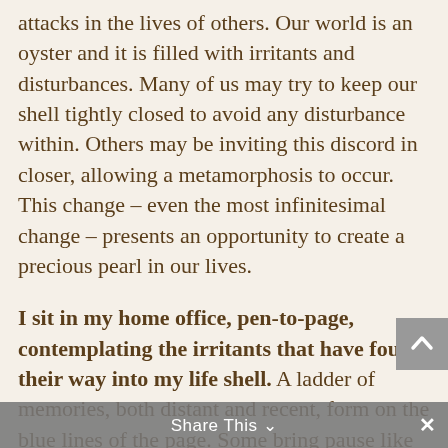attacks in the lives of others.  Our world is an oyster and it is filled with irritants and disturbances.  Many of us may try to keep our shell tightly closed to avoid any disturbance within.  Others may be inviting this discord in closer, allowing a metamorphosis to occur.  This change – even the most infinitesimal change – presents an opportunity to create a precious pearl in our lives.
I sit in my home office, pen-to-page, contemplating the irritants that have found their way into my life shell.  A ladder of memories, both distant and recent, form on the blue lines of the page.  Some bring pause like the larger events, divorce, births and deaths.  Others slip along one after the other with only a glimpse out of the corner of my memory's eye.  All of them, meniscal or grand, torpid or alive, they all shimmer
Share This ∨